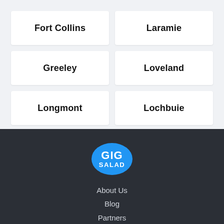Fort Collins
Laramie
Greeley
Loveland
Longmont
Lochbuie
[Figure (logo): GigSalad circular blue logo with white text GIG SALAD]
About Us
Blog
Partners